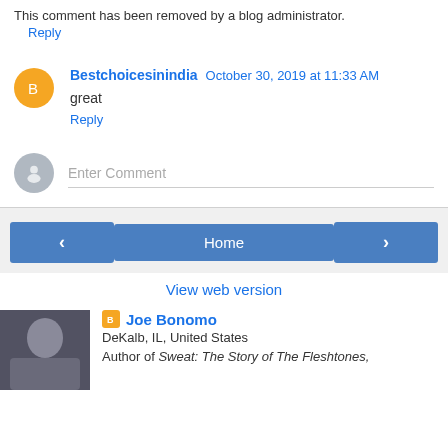This comment has been removed by a blog administrator.
Reply
Bestchoicesinindia  October 30, 2019 at 11:33 AM
great
Reply
Enter Comment
< Home >
View web version
Joe Bonomo
DeKalb, IL, United States
Author of Sweat: The Story of The Fleshtones,